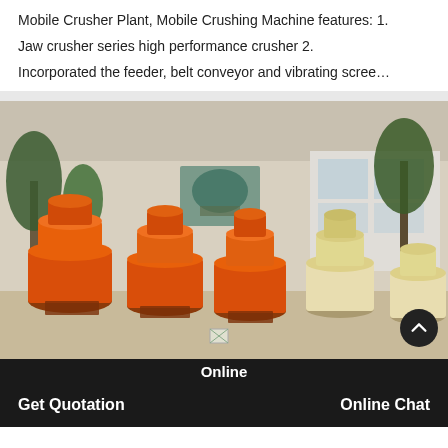Mobile Crusher Plant, Mobile Crushing Machine features: 1. Jaw crusher series high performance crusher 2. Incorporated the feeder, belt conveyor and vibrating scree…
[Figure (photo): Photograph of multiple orange and cream/beige colored cone crusher machines arranged in an outdoor factory yard, with trees and a building visible in the background. A decorative painting is visible on the wall.]
Online
Get Quotation
Online Chat